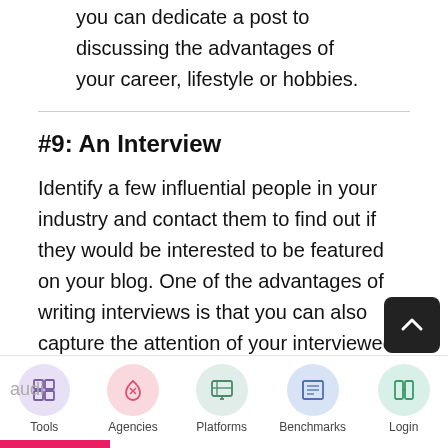you can dedicate a post to discussing the advantages of your career, lifestyle or hobbies.
#9: An Interview
Identify a few influential people in your industry and contact them to find out if they would be interested to be featured on your blog. One of the advantages of writing interviews is that you can also capture the attention of your interviewee's target audi…